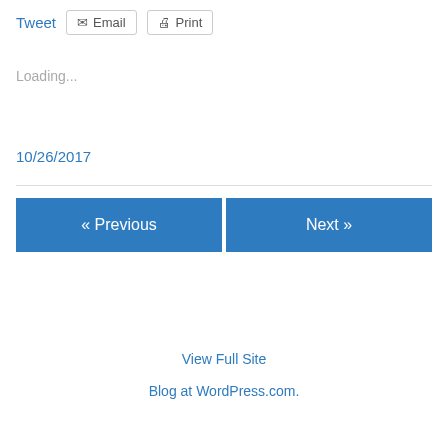Tweet
Email
Print
Loading...
10/26/2017
« Previous
Next »
View Full Site
Blog at WordPress.com.